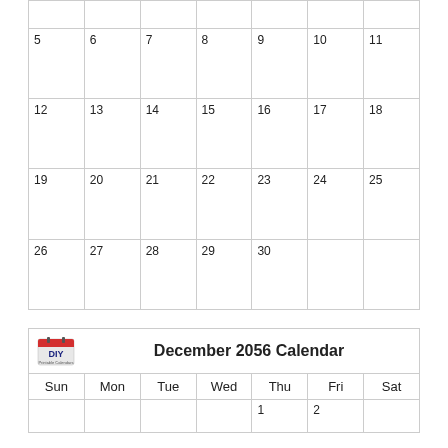| Sun | Mon | Tue | Wed | Thu | Fri | Sat |
| --- | --- | --- | --- | --- | --- | --- |
|  |  |  |  |  |  |  |
| 5 | 6 | 7 | 8 | 9 | 10 | 11 |
| 12 | 13 | 14 | 15 | 16 | 17 | 18 |
| 19 | 20 | 21 | 22 | 23 | 24 | 25 |
| 26 | 27 | 28 | 29 | 30 |  |  |
[Figure (other): DIY Printable Calendars logo — red calendar icon with DIY text]
December 2056 Calendar
| Sun | Mon | Tue | Wed | Thu | Fri | Sat |
| --- | --- | --- | --- | --- | --- | --- |
|  |  |  |  | 1 | 2 |  |